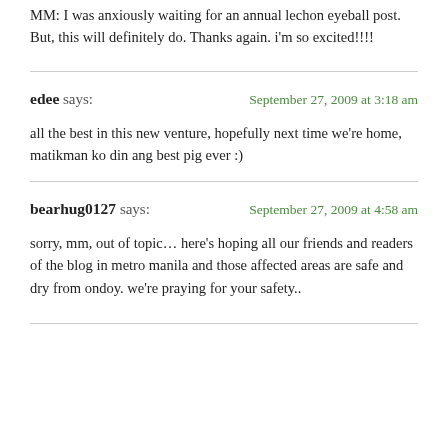MM: I was anxiously waiting for an annual lechon eyeball post. But, this will definitely do. Thanks again. i'm so excited!!!!
edee says: September 27, 2009 at 3:18 am
all the best in this new venture, hopefully next time we're home, matikman ko din ang best pig ever :)
bearhug0127 says: September 27, 2009 at 4:58 am
sorry, mm, out of topic… here's hoping all our friends and readers of the blog in metro manila and those affected areas are safe and dry from ondoy. we're praying for your safety..